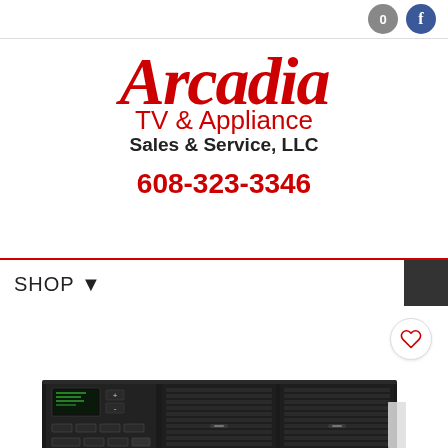0  f
[Figure (logo): Arcadia TV & Appliance Sales & Service, LLC logo in red script and sans-serif text]
608-323-3346
SHOP
[Figure (photo): Black through-the-wall or window air conditioning unit with control panel on left side]